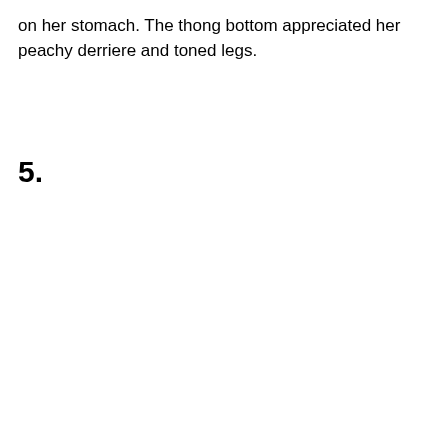on her stomach. The thong bottom appreciated her peachy derriere and toned legs.
5.